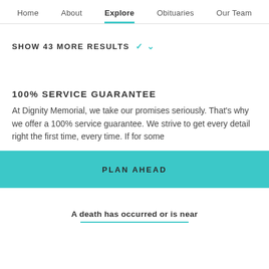Home   About   Explore   Obituaries   Our Team
SHOW 43 MORE RESULTS ✓
100% SERVICE GUARANTEE
At Dignity Memorial, we take our promises seriously. That's why we offer a 100% service guarantee. We strive to get every detail right the first time, every time. If for some
PLAN AHEAD
A death has occurred or is near